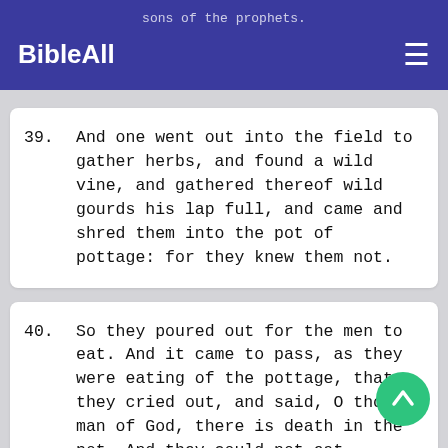BibleAll
39. And one went out into the field to gather herbs, and found a wild vine, and gathered thereof wild gourds his lap full, and came and shred them into the pot of pottage: for they knew them not.
40. So they poured out for the men to eat. And it came to pass, as they were eating of the pottage, that they cried out, and said, O thou man of God, there is death in the pot. And they could not eat thereof.